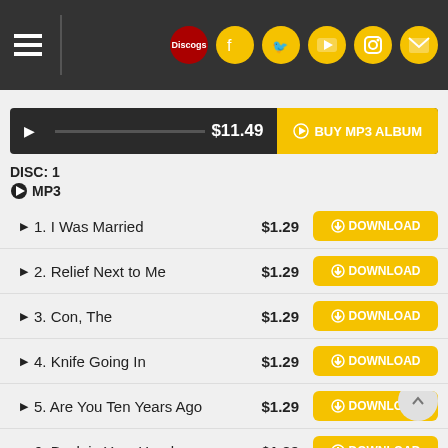Discogs navigation and social icons header
$11.49  BUY MP3 ALBUM
DISC: 1
MP3
1. I Was Married  $1.29  DOWNLOAD
2. Relief Next to Me  $1.29  DOWNLOAD
3. Con, The  $1.29  DOWNLOAD
4. Knife Going In  $1.29  DOWNLOAD
5. Are You Ten Years Ago  $1.29  DOWNLOAD
6. Back in Your Head  $1.29  DOWNLOAD